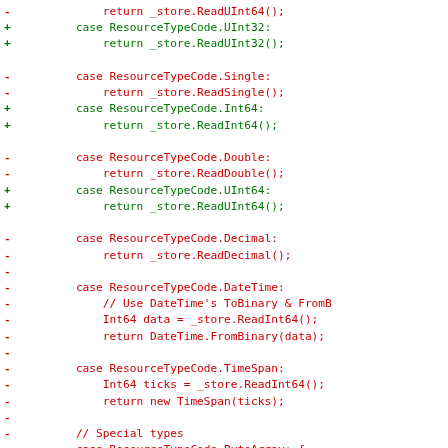Code diff showing changes to resource type reading methods including additions for UInt32, Int64, UInt64 and removals of Single, Double, Decimal, DateTime, TimeSpan handling.